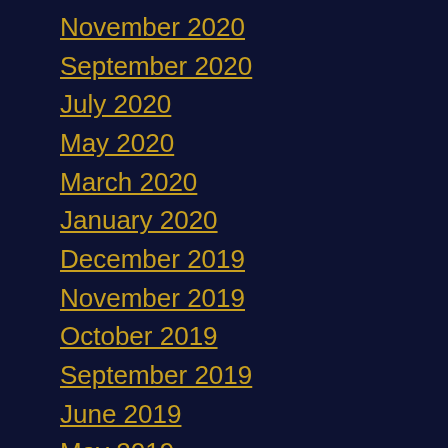November 2020
September 2020
July 2020
May 2020
March 2020
January 2020
December 2019
November 2019
October 2019
September 2019
June 2019
May 2019
April 2019